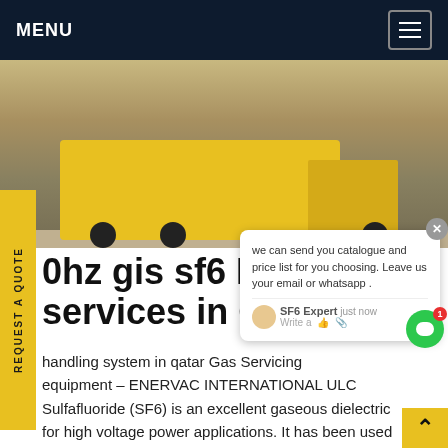MENU
[Figure (photo): Yellow SF6 gas handling truck/vehicle on a construction/industrial site in Qatar, viewed from behind]
REQUEST A QUOTE
we can send you catalogue and price list for you choosing. Leave us your email or whatsapp .
0hz gis sf6 End of services in Qatar
handling system in qatar Gas Servicing equipment – ENERVAC INTERNATIONAL ULC Sulfafluoride (SF6) is an excellent gaseous dielectric for high voltage power applications. It has been used extensively in high voltage circuit breakers and switchgear employed by the power industry.Get